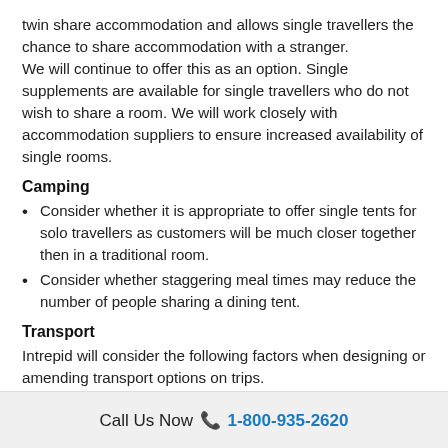twin share accommodation and allows single travellers the chance to share accommodation with a stranger. We will continue to offer this as an option. Single supplements are available for single travellers who do not wish to share a room. We will work closely with accommodation suppliers to ensure increased availability of single rooms.
Camping
Consider whether it is appropriate to offer single tents for solo travellers as customers will be much closer together then in a traditional room.
Consider whether staggering meal times may reduce the number of people sharing a dining tent.
Transport
Intrepid will consider the following factors when designing or amending transport options on trips.
Local laws or requirements regarding physical distancing on
Call Us Now 📞 1-800-935-2620